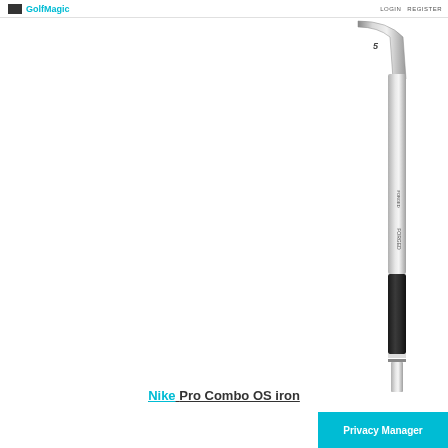GolfMagic | LOGIN | REGISTER
[Figure (photo): Close-up photo of a Nike golf iron club head and shaft on a white background, showing the chrome finish and black grip area. The club is positioned diagonally in the upper right of the frame.]
Nike Pro Combo OS iron
Privacy Manager